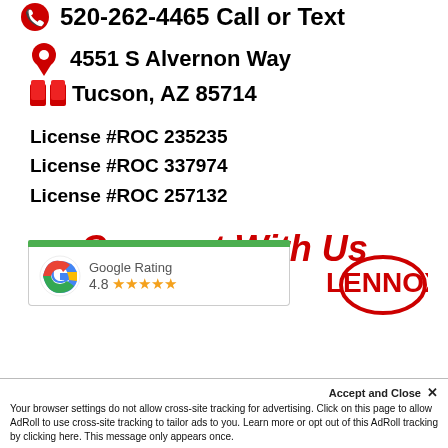520-262-4465 Call or Text
4551 S Alvernon Way
Tucson, AZ 85714
License #ROC 235235
License #ROC 337974
License #ROC 257132
Connect With Us
[Figure (screenshot): Google Rating widget showing 4.8 stars, partially visible, with a green header bar. Lennox brand logo partially visible on the right.]
Accept and Close ✕
Your browser settings do not allow cross-site tracking for advertising. Click on this page to allow AdRoll to use cross-site tracking to tailor ads to you. Learn more or opt out of this AdRoll tracking by clicking here. This message only appears once.